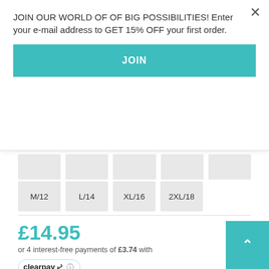JOIN OUR WORLD OF OF BIG POSSIBILITIES! Enter your e-mail address to GET 15% OFF your first order.
JOIN
M/12  L/14  XL/16  2XL/18
£14.95
or 4 interest-free payments of £3.74 with clearpay
1